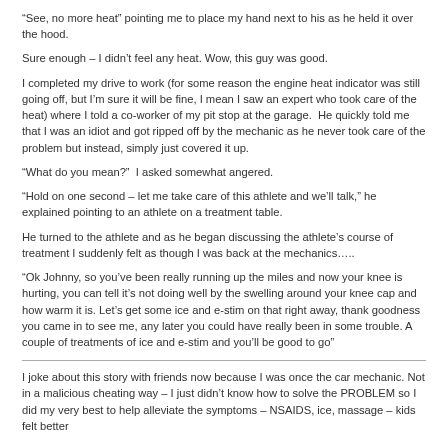“See, no more heat” pointing me to place my hand next to his as he held it over the hood.
Sure enough – I didn’t feel any heat. Wow, this guy was good.
I completed my drive to work (for some reason the engine heat indicator was still going off, but I’m sure it will be fine, I mean I saw an expert who took care of the heat) where I told a co-worker of my pit stop at the garage.  He quickly told me that I was an idiot and got ripped off by the mechanic as he never took care of the problem but instead, simply just covered it up.
“What do you mean?”  I asked somewhat angered.
“Hold on one second – let me take care of this athlete and we’ll talk,” he explained pointing to an athlete on a treatment table.
He turned to the athlete and as he began discussing the athlete’s course of treatment I suddenly felt as though I was back at the mechanics…..
“Ok Johnny, so you’ve been really running up the miles and now your knee is hurting, you can tell it’s not doing well by the swelling around your knee cap and how warm it is. Let’s get some ice and e-stim on that right away, thank goodness you came in to see me, any later you could have really been in some trouble. A couple of treatments of ice and e-stim and you’ll be good to go”
I joke about this story with friends now because I was once the car mechanic. Not in a malicious cheating way – I just didn’t know how to solve the PROBLEM so I did my very best to help alleviate the symptoms – NSAIDS, ice, massage – kids felt better